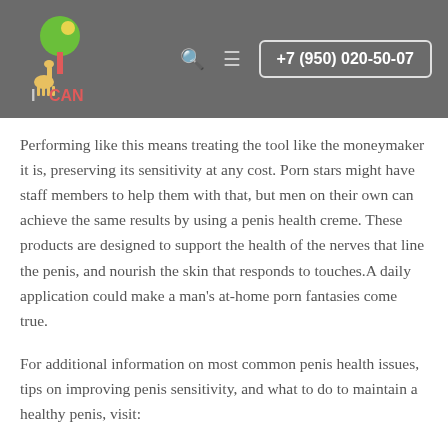ICAN | +7 (950) 020-50-07
Performing like this means treating the tool like the moneymaker it is, preserving its sensitivity at any cost. Porn stars might have staff members to help them with that, but men on their own can achieve the same results by using a penis health creme. These products are designed to support the health of the nerves that line the penis, and nourish the skin that responds to touches.A daily application could make a man's at-home porn fantasies come true.
For additional information on most common penis health issues, tips on improving penis sensitivity, and what to do to maintain a healthy penis, visit: